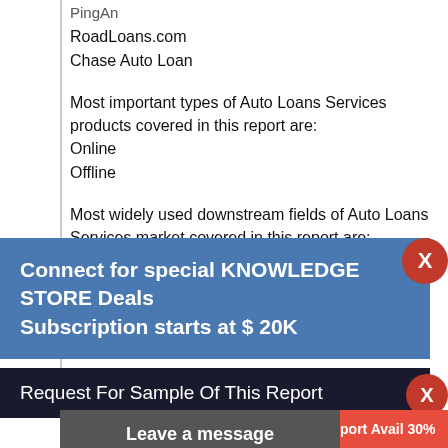PingAn
RoadLoans.com
Chase Auto Loan
Most important types of Auto Loans Services products covered in this report are:
Online
Offline
Most widely used downstream fields of Auto Loans Services market covered in this report are:
United States
Canada
Germany
UK
Spain
Russia
Connect for special KNOWLEDGE STORE Deals
Subscription starts at $ 20K
Request For Sample Of This Report
Buy Any Report Avail 30%
Code:
Leave a message